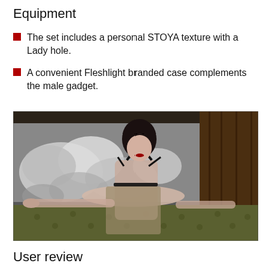Equipment
The set includes a personal STOYA texture with a Lady hole.
A convenient Fleshlight branded case complements the male gadget.
[Figure (photo): A woman with black hair wearing a dark strappy bra top and skirt, seated on an olive green tufted leather couch, with a black and white storm cloud painting behind her and dark wood paneling to the right.]
User review